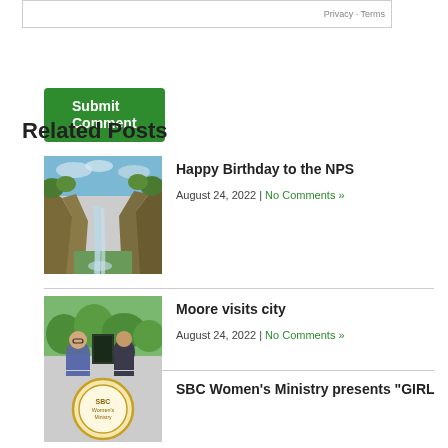Privacy · Terms
Submit Comment
Related Posts
[Figure (photo): Waterfall in a canyon with green forested hills (NPS related image)]
Happy Birthday to the NPS
August 24, 2022 | No Comments »
[Figure (photo): Two men standing in front of a historic marker sign, outdoors with trees]
Moore visits city
August 24, 2022 | No Comments »
[Figure (logo): SBC Women's Ministry circular logo]
SBC Women's Ministry presents "GIRL